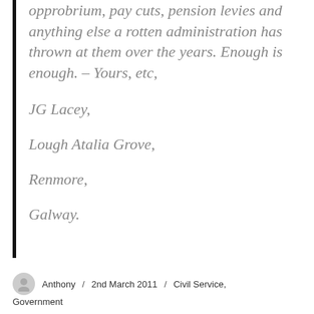opprobrium, pay cuts, pension levies and anything else a rotten administration has thrown at them over the years. Enough is enough. – Yours, etc,

JG Lacey,

Lough Atalia Grove,

Renmore,

Galway.
Anthony / 2nd March 2011 / Civil Service, Government